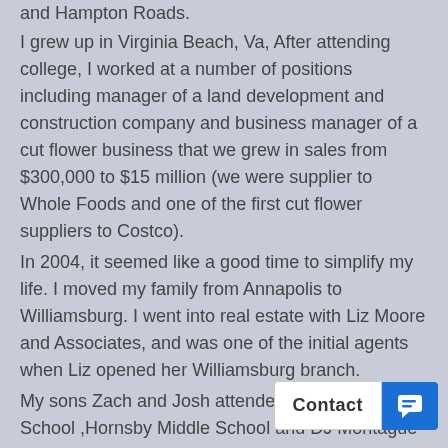and Hampton Roads.
I grew up in Virginia Beach, Va, After attending college, I worked at a number of positions including manager of a land development and construction company and business manager of a cut flower business that we grew in sales from $300,000 to $15 million (we were supplier to Whole Foods and one of the first cut flower suppliers to Costco).
In 2004, it seemed like a good time to simplify my life. I moved my family from Annapolis to Williamsburg. I went into real estate with Liz Moore and Associates, and was one of the initial agents when Liz opened her Williamsburg branch.
My sons Zach and Josh attended Lafayette High School ,Hornsby Middle School and DJ Montague and are crazy about sports and the outdoors.
I feel lucky to be living the dream, and saving hours by not driving on the DC beltway every day. So, I